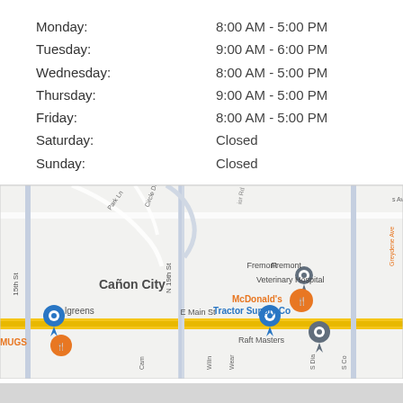Monday: 8:00 AM - 5:00 PM
Tuesday: 9:00 AM - 6:00 PM
Wednesday: 8:00 AM - 5:00 PM
Thursday: 9:00 AM - 5:00 PM
Friday: 8:00 AM - 5:00 PM
Saturday: Closed
Sunday: Closed
[Figure (map): Google Map showing Cañon City area with Fremont Veterinary Hospital pin, Tractor Supply Co, McDonald's, Raft Masters, Walgreens, and MUGS restaurant markers. Streets include 15th St, N 19th St, E Main St, Greydene Ave, Park Ln, Circle Dr.]